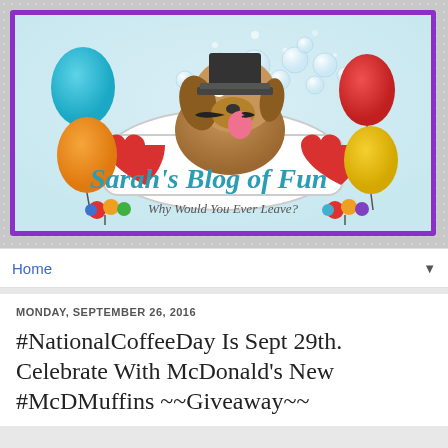[Figure (illustration): Sarah's Blog of Fun banner image featuring a cartoon dog in a top hat with a mustache sitting in a bathtub full of bubbles, surrounded by colorful balloons (teal, orange, red, yellow) and red hearts. The banner has a purple zigzag stamp-style border. Blog title reads 'Sarah's Blog of Fun' in teal italic text and subtitle 'Why Would You Ever Leave?' in cursive.]
Home
MONDAY, SEPTEMBER 26, 2016
#NationalCoffeeDay Is Sept 29th. Celebrate With McDonald's New #McDMuffins ~~Giveaway~~